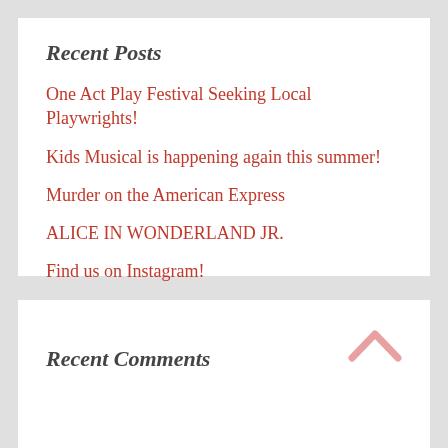Recent Posts
One Act Play Festival Seeking Local Playwrights!
Kids Musical is happening again this summer!
Murder on the American Express
ALICE IN WONDERLAND JR.
Find us on Instagram!
Recent Comments